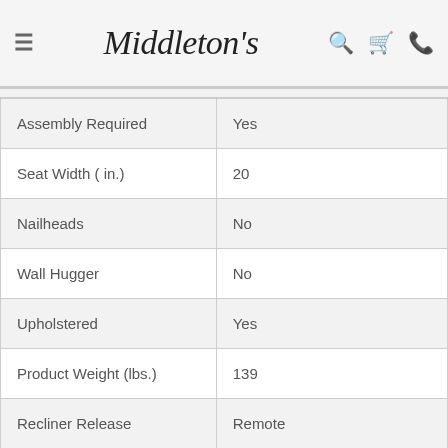Middleton's
| Attribute | Value |
| --- | --- |
| Assembly Required | Yes |
| Seat Width ( in.) | 20 |
| Nailheads | No |
| Wall Hugger | No |
| Upholstered | Yes |
| Product Weight (lbs.) | 139 |
| Recliner Release | Remote |